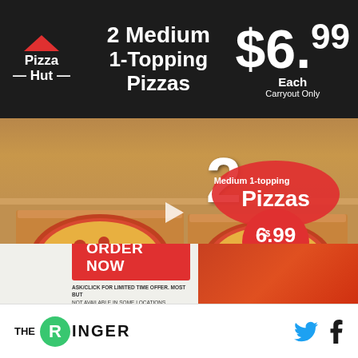[Figure (photo): Pizza Hut advertisement showing two open pizza boxes with pepperoni pizzas on a wooden surface. Top bar shows Pizza Hut logo, '2 Medium 1-Topping Pizzas' and '$6.99 Each Carryout Only'. Center overlay shows '2 Medium 1-topping Pizzas $6.99 Each Carryout Only' badge. Disclaimer text at bottom of photo. Bottom section shows 'ORDER NOW' red button with fine print. Bottom nav bar shows The Ringer logo with green circle R and Twitter/Facebook social icons.]